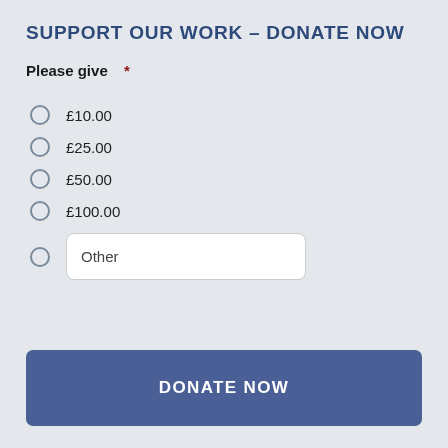SUPPORT OUR WORK – DONATE NOW
Please give *
£10.00
£25.00
£50.00
£100.00
Other
DONATE NOW